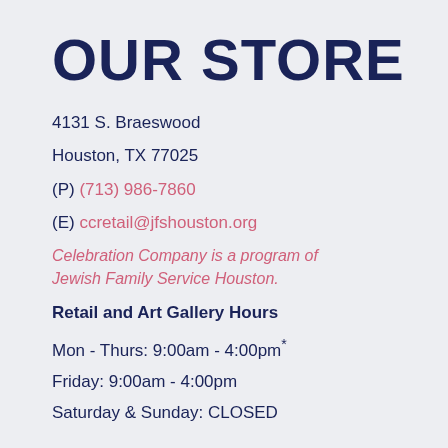OUR STORE
4131 S. Braeswood
Houston, TX 77025
(P) (713) 986-7860
(E) ccretail@jfshouston.org
Celebration Company is a program of Jewish Family Service Houston.
Retail and Art Gallery Hours
Mon - Thurs: 9:00am - 4:00pm*
Friday: 9:00am - 4:00pm
Saturday & Sunday: CLOSED